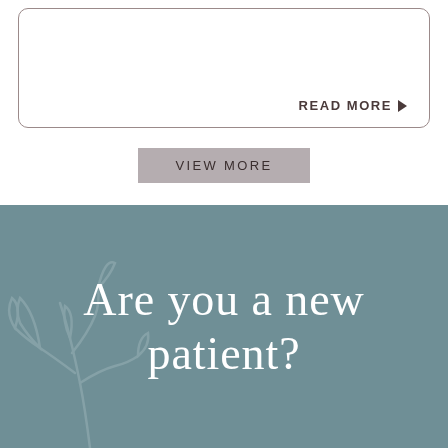READ MORE ▶
VIEW MORE
Are you a new patient?